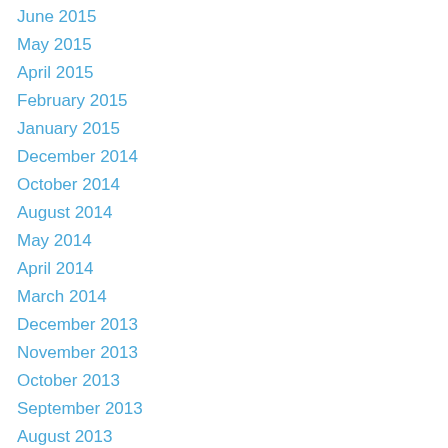June 2015
May 2015
April 2015
February 2015
January 2015
December 2014
October 2014
August 2014
May 2014
April 2014
March 2014
December 2013
November 2013
October 2013
September 2013
August 2013
July 2013
June 2013
May 2013
April 2013